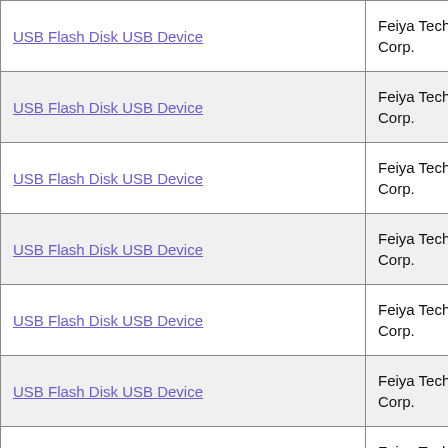| Device Name | Manufacturer |
| --- | --- |
| USB Flash Disk USB Device | Feiya Technology Corp. |
| USB Flash Disk USB Device | Feiya Technology Corp. |
| USB Flash Disk USB Device | Feiya Technology Corp. |
| USB Flash Disk USB Device | Feiya Technology Corp. |
| USB Flash Disk USB Device | Feiya Technology Corp. |
| USB Flash Disk USB Device | Feiya Technology Corp. |
| USB Flash Disk USB Device | Feiya Technology Corp. |
| USB Flash DISK USB Device | Feiya Technology Corp. |
| USB Flash Disk USB Device | Feiya Technology Corp. |
| USB Flash Disk USB Device | Feiya Technology Corp. |
|  | Feiya Technology Corp. |